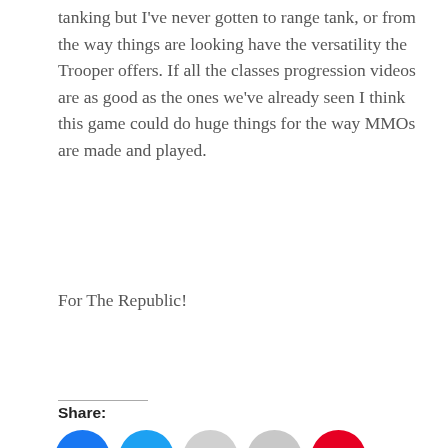tanking but I've never gotten to range tank, or from the way things are looking have the versatility the Trooper offers. If all the classes progression videos are as good as the ones we've already seen I think this game could do huge things for the way MMOs are made and played.
For The Republic!
Share:
[Figure (other): Social sharing icons: Facebook (blue circle), Twitter (light blue circle), Email (grey circle), Print (grey circle), Pinterest (red circle)]
Like this:
Loading...